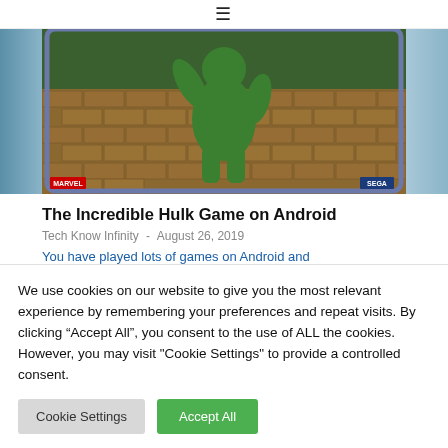≡
[Figure (screenshot): Screenshot of The Incredible Hulk game on Android displayed on a smartphone, showing the Hulk character on a brick/grass environment background, with MARVEL and SEGA logos at the bottom corners.]
The Incredible Hulk Game on Android
Tech Know Infinity  -  August 26, 2019
You have played lots of games on Android and
We use cookies on our website to give you the most relevant experience by remembering your preferences and repeat visits. By clicking "Accept All", you consent to the use of ALL the cookies. However, you may visit "Cookie Settings" to provide a controlled consent.